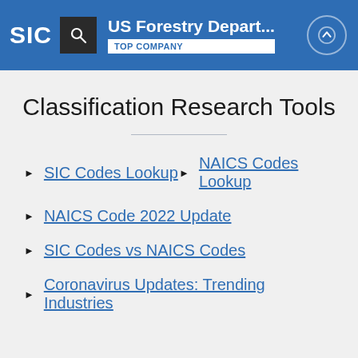SIC | US Forestry Depart... | TOP COMPANY
Classification Research Tools
SIC Codes Lookup
NAICS Codes Lookup
NAICS Code 2022 Update
SIC Codes vs NAICS Codes
Coronavirus Updates: Trending Industries